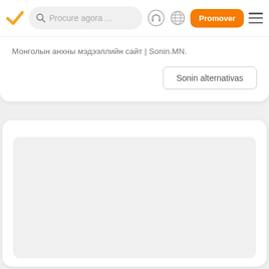[Figure (screenshot): Navigation bar with orange checkmark logo, search box with 'Procure agora ...' placeholder, headphone icon, globe icon, orange 'Promover' button, and hamburger menu icon]
Монголын анхны мэдээллийн сайт | Sonin.MN.
[Figure (other): Button labeled 'Sonin alternativas' with border]
[Figure (other): White card with light gray placeholder rectangle below]